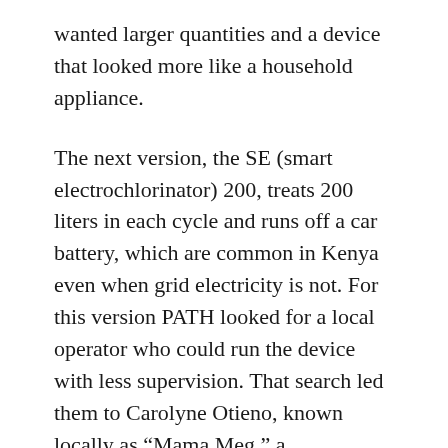wanted larger quantities and a device that looked more like a household appliance.
The next version, the SE (smart electrochlorinator) 200, treats 200 liters in each cycle and runs off a car battery, which are common in Kenya even when grid electricity is not. For this version PATH looked for a local operator who could run the device with less supervision. That search led them to Carolyne Otieno, known locally as “Mama Meg,” a businesswoman in a semi-urban area near Kisumu, Kenya.
She had already applied for and received two loans to dig a well, and she ran a kiosk at her home selling bread, sugar, treated water and chlorine. And, says Schubert, she understood the importance of treating